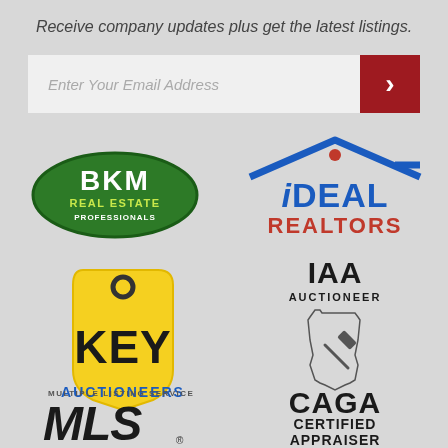Receive company updates plus get the latest listings.
[Figure (other): Email address input bar with red submit arrow button]
[Figure (logo): BKM Real Estate Professionals logo - green oval with white text]
[Figure (logo): iDEAL Realtors logo - blue house icon with blue and red text]
[Figure (logo): KEY Auctioneers logo - yellow price tag with key hole, black and blue text]
[Figure (logo): IAA Auctioneer CAGA Certified Appraiser logo - black text with Indiana state outline]
[Figure (logo): Multiple Listing Service MLS logo]